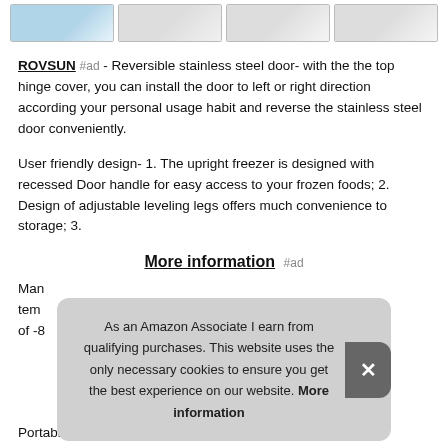[Figure (screenshot): Row of four product thumbnail images showing a freezer]
ROVSUN #ad - Reversible stainless steel door- with the the top hinge cover, you can install the door to left or right direction according your personal usage habit and reverse the stainless steel door conveniently.
User friendly design- 1. The upright freezer is designed with recessed Door handle for easy access to your frozen foods; 2. Design of adjustable leveling legs offers much convenience to storage; 3.
More information #ad
Man… tem… of -8…
[Figure (screenshot): Cookie consent banner overlay: As an Amazon Associate I earn from qualifying purchases. This website uses the only necessary cookies to ensure you get the best experience on our website. More information]
Portable & suitable for many occasions, compact size upright